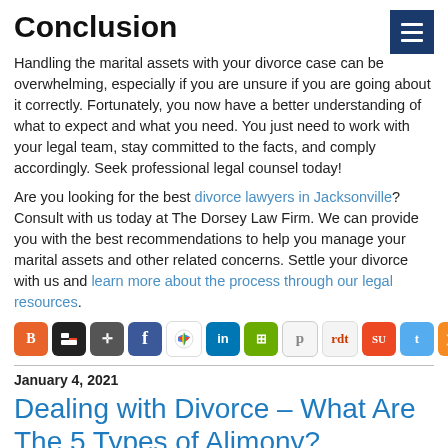Conclusion
Handling the marital assets with your divorce case can be overwhelming, especially if you are unsure if you are going about it correctly. Fortunately, you now have a better understanding of what to expect and what you need. You just need to work with your legal team, stay committed to the facts, and comply accordingly. Seek professional legal counsel today!
Are you looking for the best divorce lawyers in Jacksonville? Consult with us today at The Dorsey Law Firm. We can provide you with the best recommendations to help you manage your marital assets and other related concerns. Settle your divorce with us and learn more about the process through our legal resources.
[Figure (other): Social media sharing icons row: Blogger, Delicious, Digg, Facebook, Google+, LinkedIn, ShareThis, Pinboard, Reddit, StumbleUpon, Twitter, RSS, Star/Favorites, Email]
January 4, 2021
Dealing with Divorce – What Are The 5 Types of Alimony?
It's not uncommon for married couples to reach a decisive moment in their partnership where one or both parties are no longer happy with the other. They can formally file for divorce, which requires a rigorous process...